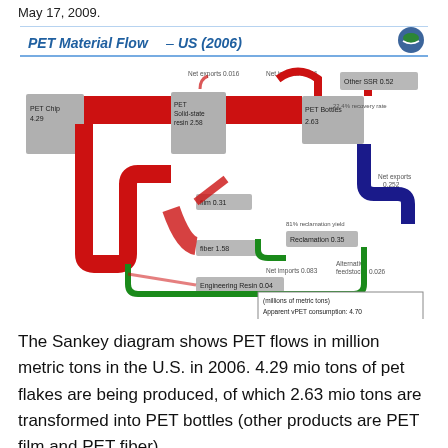May 17, 2009.
[Figure (flowchart): Sankey diagram titled 'PET Material Flow – US (2006)' showing PET material flows in millions of metric tons. Nodes include PET Chip 4.29, PET Solid-state resin 2.58, PET Bottles 2.63, Other SSR 0.52, film 0.31, fiber 1.58, Engineering Resin 0.04, Reclamation 0.35. Flows show net exports 0.016, net imports 0.426, 22.4% recovery rate, 81% reclamation yield, net exports 0.252, net imports 0.083, alternative feedstocks 0.026. Legend box: (millions of metric tons) Apparent vPET consumption: 4.70, Apparent rPET consumption: 0.37, Displacement Rate: 7.3%]
The Sankey diagram shows PET flows in million metric tons in the U.S. in 2006. 4.29 mio tons of pet flakes are being produced, of which 2.63 mio tons are transformed into PET bottles (other products are PET film and PET fiber).